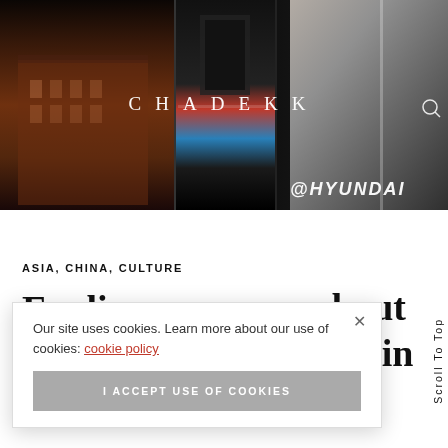[Figure (photo): Hero banner photograph showing a nighttime cityscape with buildings including a historic brick building on the left, large billboard panels in the center with a Hyundai advertisement, and a black and white close-up of hands/figure on the right]
CHADEKK
ASIA, CHINA, CULTURE
about
men in
Our site uses cookies. Learn more about our use of cookies: cookie policy
I ACCEPT USE OF COOKIES
Scroll To Top